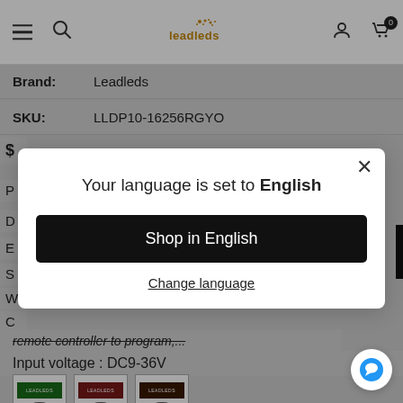Leadleds navigation bar with hamburger menu, search, logo, user, and cart icons
Brand: Leadleds
SKU: LLDP10-16256RGYO
remote controller to program,...
Input voltage : DC9-36V
[Figure (screenshot): Language selection modal dialog overlaying product page. Modal reads: 'Your language is set to English' with a 'Shop in English' button and 'Change language' link.]
Your language is set to English
Shop in English
Change language